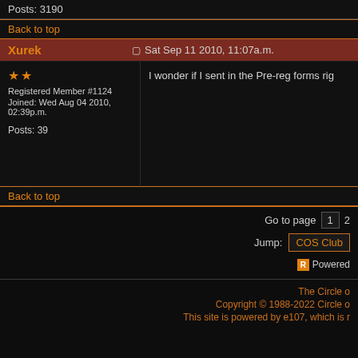Posts: 3190
Back to top
Xurek
Sat Sep 11 2010, 11:07a.m.
★★
Registered Member #1124
Joined: Wed Aug 04 2010, 02:39p.m.
I wonder if I sent in the Pre-reg forms rig
Posts: 39
Back to top
Go to page  1  2
Jump:  COS Club
Powered
The Circle o
Copyright © 1988-2022 Circle o
This site is powered by e107, which is r